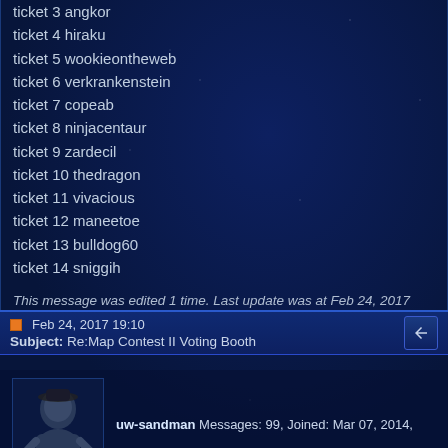ticket 3 angkor
ticket 4 hiraku
ticket 5 wookieontheweb
ticket 6 verkrankenstein
ticket 7 copeab
ticket 8 ninjacentaur
ticket 9 zardecil
ticket 10 thedragon
ticket 11 vivacious
ticket 12 maneetoe
ticket 13 bulldog60
ticket 14 sniggih
This message was edited 1 time. Last update was at Feb 24, 2017 19:21
Feb 24, 2017 19:10 Subject: Re:Map Contest II Voting Booth
uw-sandman Messages: 99, Joined: Mar 07, 2014,
Much congratulations to ZARDECIL !! Your grand prize winnings are on their way!
Map authors: